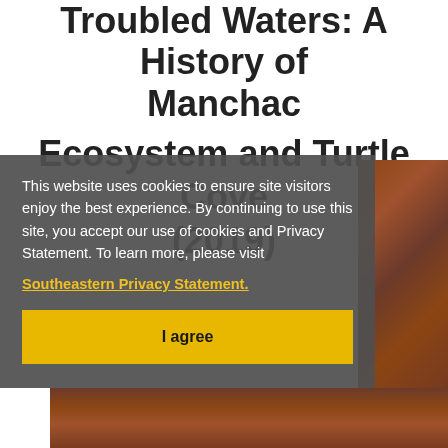Troubled Waters: A History of Manchac Ecosystem and Turtle Cove (2019)
This website uses cookies to ensure site visitors enjoy the best experience. By continuing to use this site, you accept our use of cookies and Privacy Statement. To learn more, please visit Southeastern Privacy Statement.
I agree
[Figure (photo): Background photo showing close-up of brownish-red natural texture, likely turtle shell or bark]